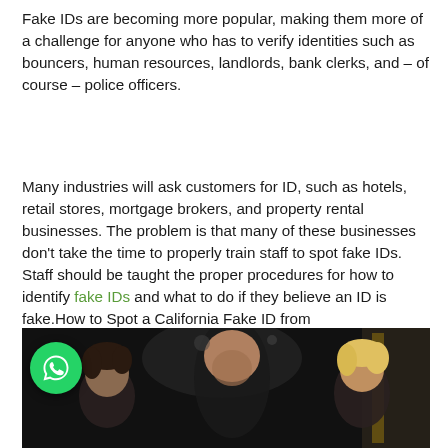Fake IDs are becoming more popular, making them more of a challenge for anyone who has to verify identities such as bouncers, human resources, landlords, bank clerks, and – of course – police officers.
Many industries will ask customers for ID, such as hotels, retail stores, mortgage brokers, and property rental businesses. The problem is that many of these businesses don't take the time to properly train staff to spot fake IDs. Staff should be taught the proper procedures for how to identify fake IDs and what to do if they believe an ID is fake.How to Spot a California Fake ID from Documentsarena.
[Figure (photo): A dark nightclub or bar scene showing a bald man checking IDs, with a person with dark hair on the left and a blonde person on the right. A green WhatsApp chat button is overlaid in the bottom-left of the image.]